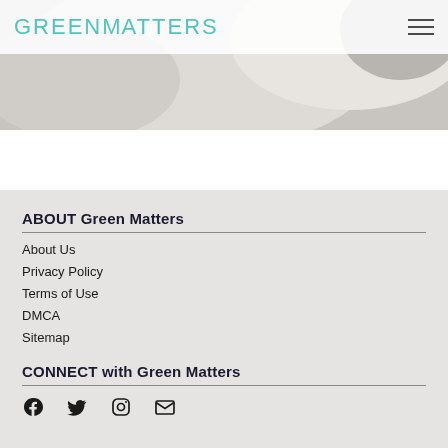GREENMATTERS
[Figure (photo): Close-up photo of white cotton or fabric, partially visible at the top of the page]
ABOUT Green Matters
About Us
Privacy Policy
Terms of Use
DMCA
Sitemap
CONNECT with Green Matters
[Figure (illustration): Social media icons: Facebook, Twitter, Instagram, Email/envelope]